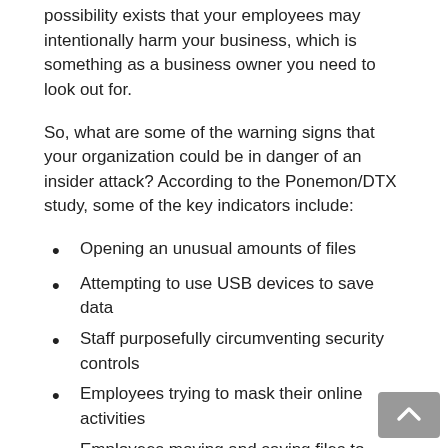possibility exists that your employees may intentionally harm your business, which is something as a business owner you need to look out for.
So, what are some of the warning signs that your organization could be in danger of an insider attack? According to the Ponemon/DTX study, some of the key indicators include:
Opening an unusual amounts of files
Attempting to use USB devices to save data
Staff purposefully circumventing security controls
Employees trying to mask their online activities
Employees moving and saving files to unusual locations
Businesses struggle to detect these indicators of